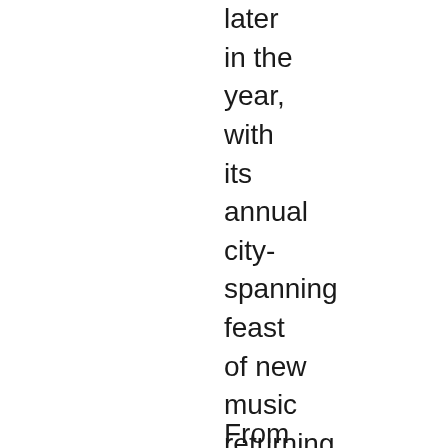later in the year, with its annual city-spanning feast of new music returning on Saturday 15th with the line-up to be revealed early next year.
From